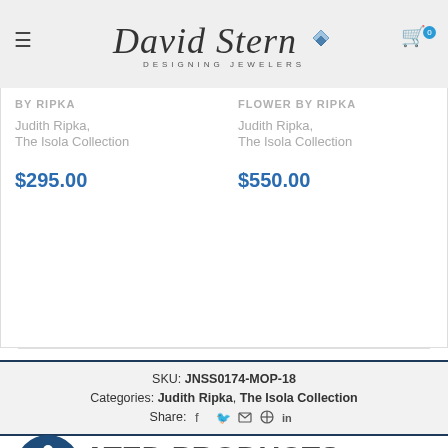David Stern Designing Jewelers
Judith Ripka, The Isola Collection $295.00
Judith Ripka, The Isola Collection $550.00
SKU: JNSS0174-MOP-18
Categories: Judith Ripka, The Isola Collection
Share: f t mail pinterest in
RELATED PRODUCTS